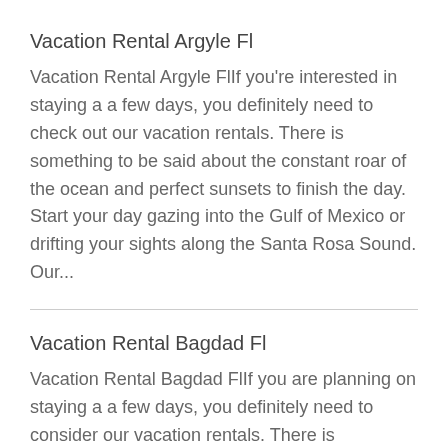Vacation Rental Argyle Fl
Vacation Rental Argyle FlIf you're interested in staying a a few days, you definitely need to check out our vacation rentals. There is something to be said about the constant roar of the ocean and perfect sunsets to finish the day. Start your day gazing into the Gulf of Mexico or drifting your sights along the Santa Rosa Sound. Our...
Vacation Rental Bagdad Fl
Vacation Rental Bagdad FlIf you are planning on staying a a few days, you definitely need to consider our vacation rentals. There is something magical about the roar of the seas and picturesque sunsets to end your day. Start